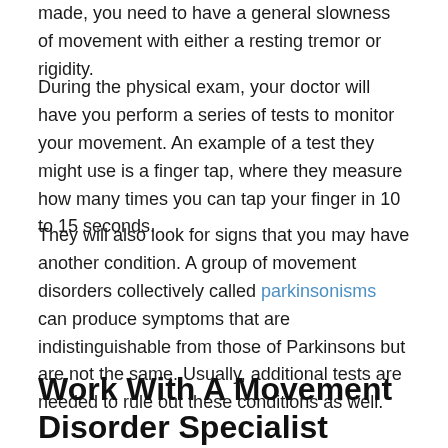made, you need to have a general slowness of movement with either a resting tremor or rigidity.
During the physical exam, your doctor will have you perform a series of tests to monitor your movement. An example of a test they might use is a finger tap, where they measure how many times you can tap your finger in 10 to 15 seconds.
They will also look for signs that you may have another condition. A group of movement disorders collectively called parkinsonisms can produce symptoms that are indistinguishable from those of Parkinsons but are not the same. Usually, additional tests are needed to rule out these conditions as well.
Work With A Movement Disorder Specialist